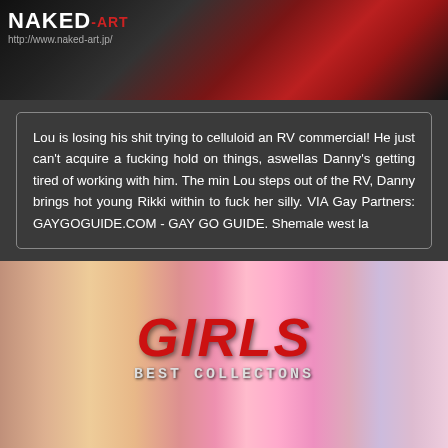[Figure (photo): Top banner image with dark red/black background, NAKED-ART logo and URL http://www.naked-art.jp/]
Lou is losing his shit trying to celluloid an RV commercial! He just can't acquire a fucking hold on things, aswellas Danny's getting tired of working with him. The min Lou steps out of the RV, Danny brings hot young Rikki within to fuck her silly. VIA Gay Partners: GAYGOGUIDE.COM - GAY GO GUIDE. Shemale west la
[Figure (photo): Middle banner image with pink/flesh tones background, large red italic GIRLS text and BEST COLLECTONS subtitle in monospace font]
[Figure (photo): Bottom partial banner image with same pink/flesh tones background, partially cropped]